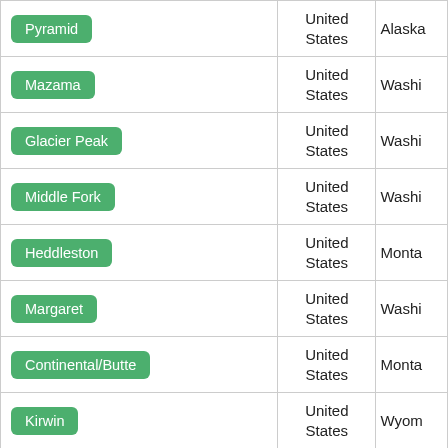| Name | Country | State/Region |
| --- | --- | --- |
| Pyramid | United States | Alaska |
| Mazama | United States | Washi... |
| Glacier Peak | United States | Washi... |
| Middle Fork | United States | Washi... |
| Heddleston | United States | Monta... |
| Margaret | United States | Washi... |
| Continental/Butte | United States | Monta... |
| Kirwin | United States | Wyom... |
| Caribou Mountain | United States | Idaho |